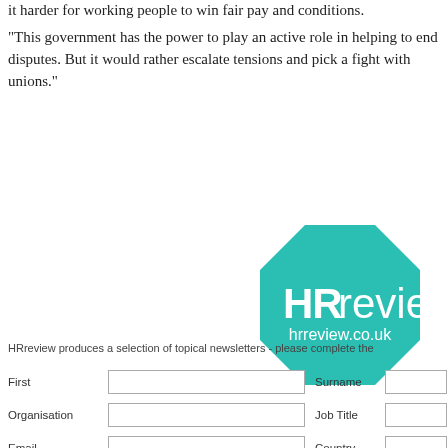it harder for working people to win fair pay and conditions.
“This government has the power to play an active role in helping to end disputes. But it would rather escalate tensions and pick a fight with unions.”
[Figure (logo): HRreview logo - teal/turquoise octagon shape with 'HRreview' in white bold text and 'hrreview.co.uk' below in smaller white text]
HRreview produces a selection of topical newsletters - please complete the
| First |  | Surname |  |
| --- | --- | --- | --- |
| Organisation |  | Job Title |  |
| Email |  | Country |  |